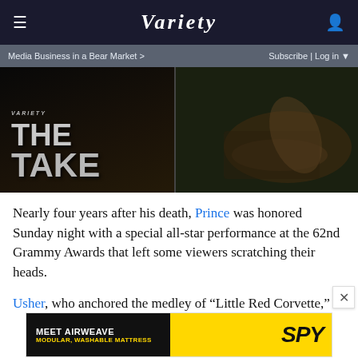VARIETY
Media Business in a Bear Market > | Subscribe | Log in
[Figure (screenshot): Variety 'The Take' video thumbnail on left with dark background showing THE TAKE text, and a person crawling in mud on the right side.]
Nearly four years after his death, Prince was honored Sunday night with a special all-star performance at the 62nd Grammy Awards that left some viewers scratching their heads.
Usher, who anchored the medley of “Little Red Corvette,” “When Doves Cry” and “Kiss,” sang and danced onstage while longtime Prince collaborator and percussionist Sheila E. played the drums. Singer FKA twigs, meanwhile — who
[Figure (screenshot): Advertisement banner: MEET AIRWEAVE MODULAR, WASHABLE MATTRESS with SPY logo, dark and yellow color scheme.]